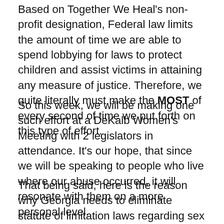Based on Together We Heal's non-profit designation, Federal law limits the amount of time we are able to spend lobbying for laws to protect children and assist victims in attaining any measure of justice. Therefore, we quite literally must make the MOST of every second of time we put forth on this type of effort.
So this week, we will be making one such effort at a DeKalb Women's Meeting with 2 legislators in attendance. It's our hope, that since we will be speaking to people who live where our abuse occurred, it will resonate with them on a more personal level.
That being said, here is the reason why Georgia needs to eliminate statute of limitation laws regarding sex crimes against children. And by the way, my personal example is